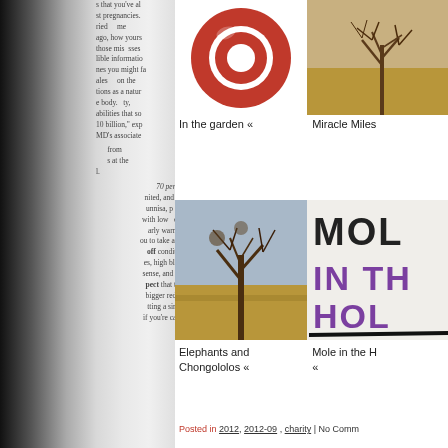s that you've al st pregnancies. ried me ago, how yours those mis sses lible informatio nes you might fa ales on the tions as a natur e body. ty, abilities that so 10 billion," exp MD's associate from s at the 70 percent nited, and our unnisa, p me with low d as arly warning ou to take actio off condition es, high blood sense, and stre pect that these bigger red fla tting a single if you're camp
[Figure (donut-chart): Red/pink donut shape graphic - logo or icon]
[Figure (photo): Bare tree in dry grassland/savanna landscape]
In the garden «
Miracle Miles
[Figure (photo): Bare tree in dry grassland/savanna landscape - Elephants and Chongololos]
[Figure (other): MOL IN TH HOL text graphic in black and purple stamp style]
Elephants and Chongololos «
Mole in the H «
Posted in 2012, 2012-09 , charity | No Comm